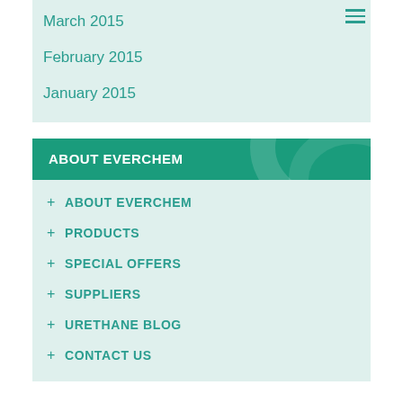March 2015
February 2015
January 2015
ABOUT EVERCHEM
+ ABOUT EVERCHEM
+ PRODUCTS
+ SPECIAL OFFERS
+ SUPPLIERS
+ URETHANE BLOG
+ CONTACT US